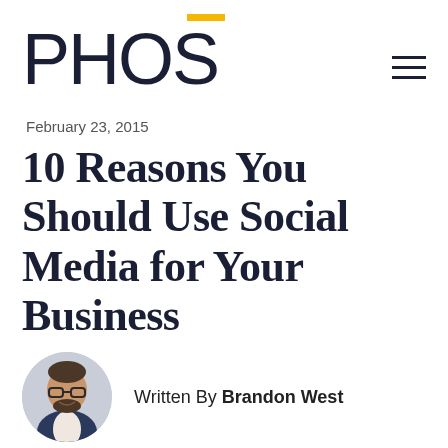PHOS
February 23, 2015
10 Reasons You Should Use Social Media for Your Business
Written By Brandon West